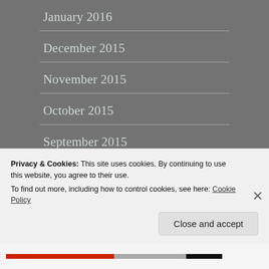January 2016
December 2015
November 2015
October 2015
September 2015
August 2015
Privacy & Cookies: This site uses cookies. By continuing to use this website, you agree to their use.
To find out more, including how to control cookies, see here: Cookie Policy
Close and accept